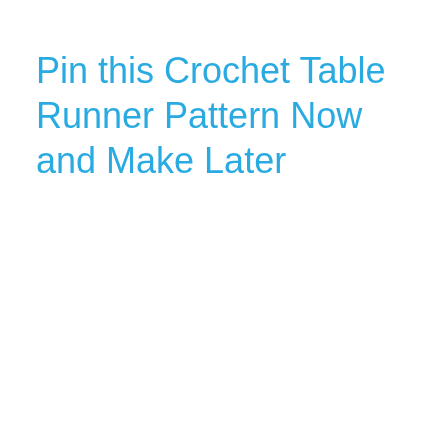Pin this Crochet Table Runner Pattern Now and Make Later